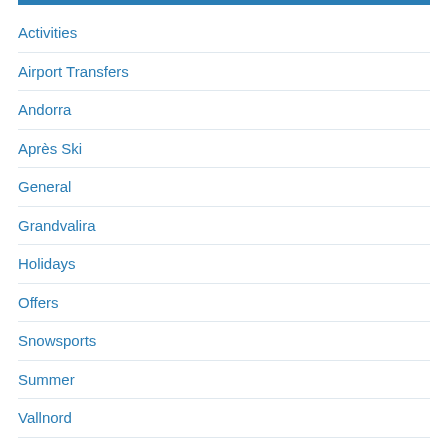Activities
Airport Transfers
Andorra
Après Ski
General
Grandvalira
Holidays
Offers
Snowsports
Summer
Vallnord